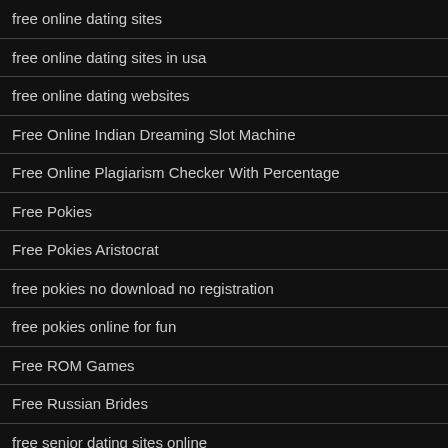free online dating sites
free online dating sites in usa
free online dating websites
Free Online Indian Dreaming Slot Machine
Free Online Plagiarism Checker With Percentage
Free Pokies
Free Pokies Aristocrat
free pokies no download no registration
free pokies online for fun
Free ROM Games
Free Russian Brides
free senior dating sites online
Free Sex Chat